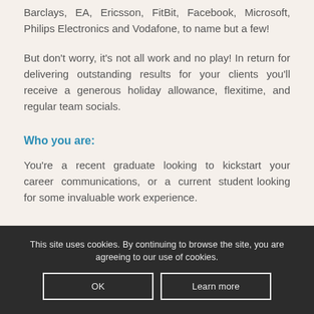Barclays, EA, Ericsson, FitBit, Facebook, Microsoft, Philips Electronics and Vodafone, to name but a few!
But don’t worry, it’s not all work and no play! In return for delivering outstanding results for your clients you’ll receive a generous holiday allowance, flexitime, and regular team socials.
Who you are:
You’re a recent graduate looking to kickstart your career communications, or a current student looking for some invaluable work experience.
This site uses cookies. By continuing to browse the site, you are agreeing to our use of cookies.
You are interested in how media technology is